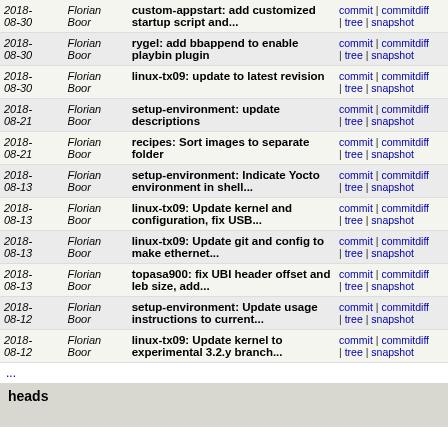| Date | Author | Message | Links |
| --- | --- | --- | --- |
| 2018-08-30 | Florian Boor | custom-appstart: add customized startup script and... | commit | commitdiff | tree | snapshot |
| 2018-08-30 | Florian Boor | rygel: add bbappend to enable playbin plugin | commit | commitdiff | tree | snapshot |
| 2018-08-30 | Florian Boor | linux-tx09: update to latest revision | commit | commitdiff | tree | snapshot |
| 2018-08-21 | Florian Boor | setup-environment: update descriptions | commit | commitdiff | tree | snapshot |
| 2018-08-21 | Florian Boor | recipes: Sort images to separate folder | commit | commitdiff | tree | snapshot |
| 2018-08-13 | Florian Boor | setup-environment: Indicate Yocto environment in shell... | commit | commitdiff | tree | snapshot |
| 2018-08-13 | Florian Boor | linux-tx09: Update kernel and configuration, fix USB... | commit | commitdiff | tree | snapshot |
| 2018-08-13 | Florian Boor | linux-tx09: Update git and config to make ethernet... | commit | commitdiff | tree | snapshot |
| 2018-08-13 | Florian Boor | topasa900: fix UBI header offset and leb size, add... | commit | commitdiff | tree | snapshot |
| 2018-08-12 | Florian Boor | setup-environment: Update usage instructions to current... | commit | commitdiff | tree | snapshot |
| 2018-08-12 | Florian Boor | linux-tx09: Update kernel to experimental 3.2.y branch... | commit | commitdiff | tree | snapshot |
...
heads